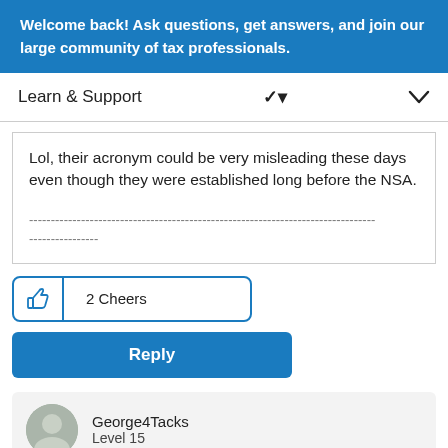Welcome back! Ask questions, get answers, and join our large community of tax professionals.
Learn & Support
Lol, their acronym could be very misleading these days even though they were established long before the NSA.

--------------------------------------------------------------------------------
----------------
[Figure (other): 2 Cheers button with thumbs up icon and reply button]
George4Tacks
Level 15